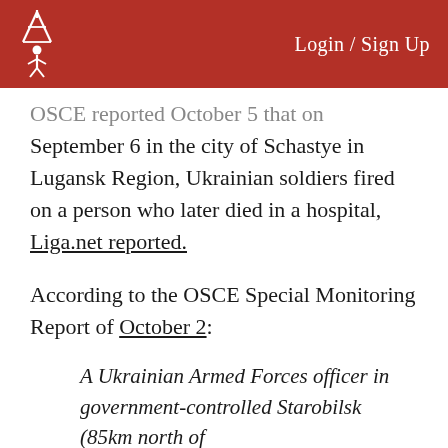Login / Sign Up
OSCE reported October 5 that on September 6 in the city of Schastye in Lugansk Region, Ukrainian soldiers fired on a person who later died in a hospital, Liga.net reported.
According to the OSCE Special Monitoring Report of October 2:
A Ukrainian Armed Forces officer in government-controlled Starobilsk (85km north of Luhansk) told the SMM about